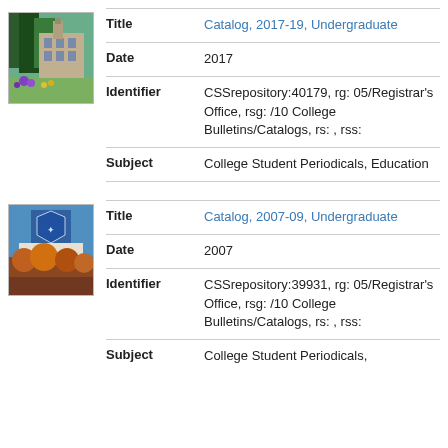[Figure (photo): Thumbnail image of catalog cover showing a building with trees and flowers, 2017-19 Undergraduate catalog]
| Field | Value |
| --- | --- |
| Title | Catalog, 2017-19, Undergraduate |
| Date | 2017 |
| Identifier | CSSrepository:40179, rg: 05/Registrar's Office, rsg: /10 College Bulletins/Catalogs, rs: , rss: |
| Subject | College Student Periodicals, Education |
[Figure (photo): Thumbnail image of catalog cover showing a shield logo and autumn trees, 2007-09 Undergraduate catalog]
| Field | Value |
| --- | --- |
| Title | Catalog, 2007-09, Undergraduate |
| Date | 2007 |
| Identifier | CSSrepository:39931, rg: 05/Registrar's Office, rsg: /10 College Bulletins/Catalogs, rs: , rss: |
| Subject | College Student Periodicals, |